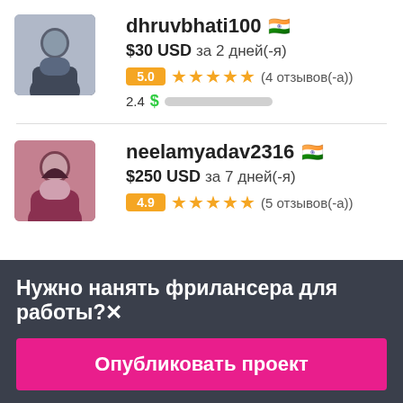dhruvbhati100 🇮🇳
$30 USD за 2 дней(-я)
5.0 ★★★★★ (4 отзывов(-а))
2.4 $ ██░░░░░░░░
neelamyadav2316 🇮🇳
$250 USD за 7 дней(-я)
4.9 ★★★★★ (5 отзывов(-а))
Нужно нанять фрилансера для работы?✕
Опубликовать проект